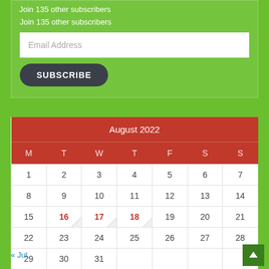Join 135 other subscribers
| August 2022 |  |  |  |  |  |  |
| --- | --- | --- | --- | --- | --- | --- |
| M | T | W | T | F | S | S |
| 1 | 2 | 3 | 4 | 5 | 6 | 7 |
| 8 | 9 | 10 | 11 | 12 | 13 | 14 |
| 15 | 16 | 17 | 18 | 19 | 20 | 21 |
| 22 | 23 | 24 | 25 | 26 | 27 | 28 |
| 29 | 30 | 31 |  |  |  |  |
« Jul